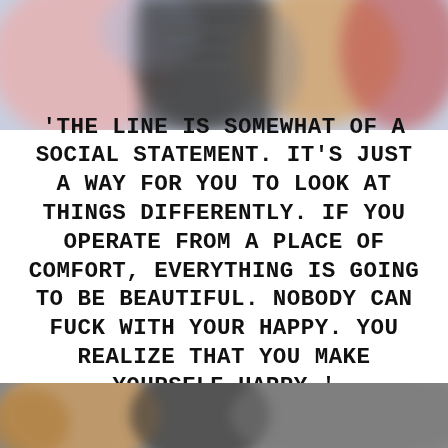[Figure (photo): Blurred photograph of people in the upper portion of the image, showing colorful blurred figures against a light background]
'THE LINE IS SOMEWHAT OF A SOCIAL STATEMENT. IT'S JUST A WAY FOR YOU TO LOOK AT THINGS DIFFERENTLY. IF YOU OPERATE FROM A PLACE OF COMFORT, EVERYTHING IS GOING TO BE BEAUTIFUL. NOBODY CAN FUCK WITH YOUR HAPPY. YOU REALIZE THAT YOU MAKE YOURSELF HAPPY.'
[Figure (photo): Blurred photograph at the bottom of the image, showing indistinct figures in dark tones]